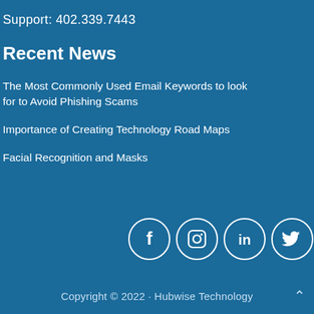Support: 402.339.7443
Recent News
The Most Commonly Used Email Keywords to look for to Avoid Phishing Scams
Importance of Creating Technology Road Maps
Facial Recognition and Masks
[Figure (infographic): Social media icons in white circles: Facebook, Instagram, LinkedIn, Twitter]
Copyright © 2022 · Hubwise Technology